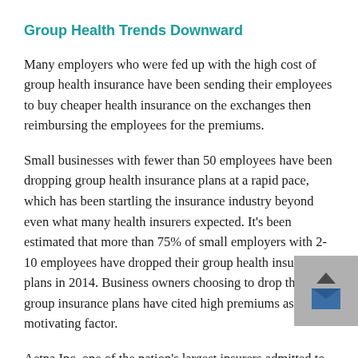Group Health Trends Downward
Many employers who were fed up with the high cost of group health insurance have been sending their employees to buy cheaper health insurance on the exchanges then reimbursing the employees for the premiums.
Small businesses with fewer than 50 employees have been dropping group health insurance plans at a rapid pace, which has been startling the insurance industry beyond even what many health insurers expected. It’s been estimated that more than 75% of small employers with 2-10 employees have dropped their group health insurance plans in 2014. Business owners choosing to drop their group insurance plans have cited high premiums as their motivating factor.
Aetna Inc. one of the nation’s largest insurers admitted to seeing a drop in their small business insurance and described it as “some erosion.” While WellPoint the nation’s second largest